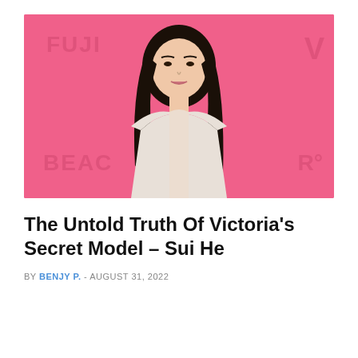[Figure (photo): Young Asian woman with long dark hair posing in front of a pink background with partial text 'FUJI' and 'BEAC' visible. She is wearing a light-colored off-shoulder top.]
The Untold Truth Of Victoria's Secret Model – Sui He
BY BENJY P. - AUGUST 31, 2022